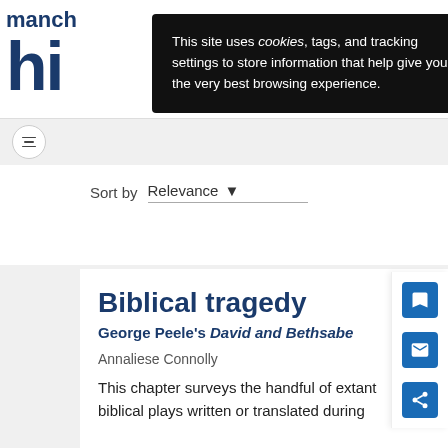manchester hi
This site uses cookies, tags, and tracking settings to store information that help give you the very best browsing experience.
Sort by  Relevance
Biblical tragedy
George Peele's David and Bethsabe
Annaliese Connolly
This chapter surveys the handful of extant biblical plays written or translated during